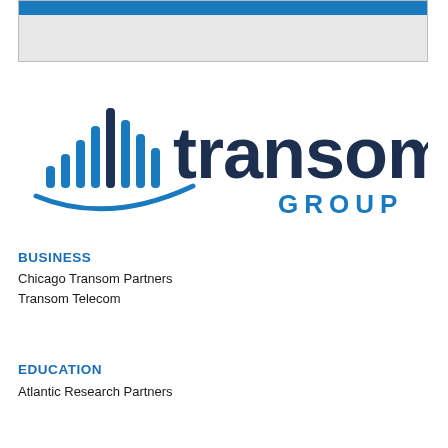[Figure (other): Gray banner box with blue top bar at the top of the page]
[Figure (logo): Transom Group logo with blue signal/bar icon and dark navy text reading 'transom GROUP']
BUSINESS
Chicago Transom Partners
Transom Telecom
EDUCATION
Atlantic Research Partners